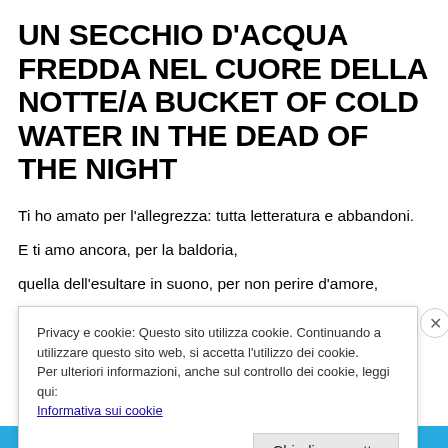UN SECCHIO D'ACQUA FREDDA NEL CUORE DELLA NOTTE/A BUCKET OF COLD WATER IN THE DEAD OF THE NIGHT
Ti ho amato per l'allegrezza: tutta letteratura e abbandoni. E ti amo ancora, per la baldoria,
quella dell'esultare in suono, per non perire d'amore,
Privacy e cookie: Questo sito utilizza cookie. Continuando a utilizzare questo sito web, si accetta l'utilizzo dei cookie.
Per ulteriori informazioni, anche sul controllo dei cookie, leggi qui:
Informativa sui cookie